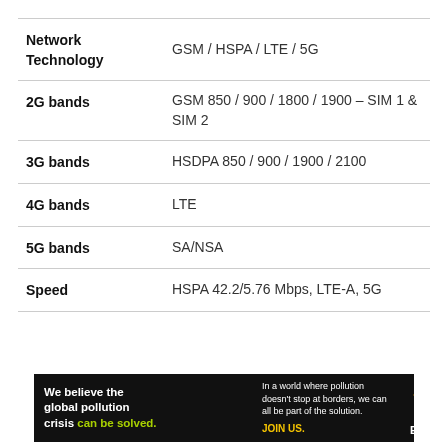| Feature | Details |
| --- | --- |
| Network Technology | GSM / HSPA / LTE / 5G |
| 2G bands | GSM 850 / 900 / 1800 / 1900 – SIM 1 & SIM 2 |
| 3G bands | HSDPA 850 / 900 / 1900 / 2100 |
| 4G bands | LTE |
| 5G bands | SA/NSA |
| Speed | HSPA 42.2/5.76 Mbps, LTE-A, 5G |
[Figure (infographic): Pure Earth advertisement banner: 'We believe the global pollution crisis can be solved.' with green text for 'can be solved.' Middle text: 'In a world where pollution doesn't stop at borders, we can all be part of the solution. JOIN US.' Right side: Pure Earth logo with diamond/chevron icon.]